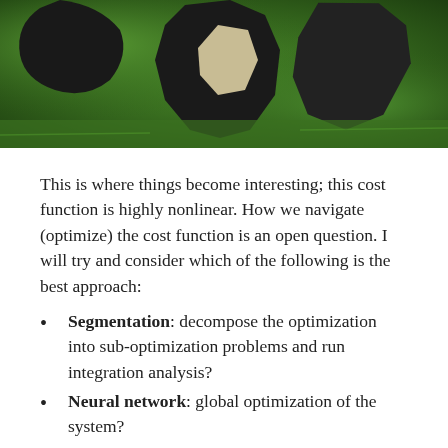[Figure (photo): Aerial view of fragmented green grass terrain with dark irregular shapes and a light-colored patch, suggesting a landscape optimization or segmentation visual metaphor.]
This is where things become interesting; this cost function is highly nonlinear. How we navigate (optimize) the cost function is an open question. I will try and consider which of the following is the best approach:
Segmentation: decompose the optimization into sub-optimization problems and run integration analysis?
Neural network: global optimization of the system?
Model linearization: create a linearized version of the models enabling linear